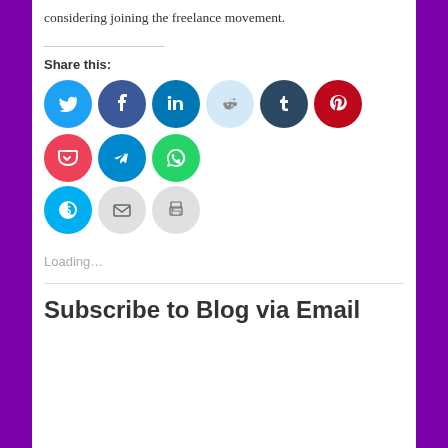considering joining the freelance movement.
Share this:
[Figure (infographic): Row of social media share buttons as colored circles: Twitter (blue), Facebook (dark blue), LinkedIn (dark blue), Reddit (light blue), Tumblr (dark navy), Pinterest (red), Pocket (red), Telegram (blue), WhatsApp (green), then second row: Skype (blue), Email (gray), Print (gray)]
Loading...
Subscribe to Blog via Email